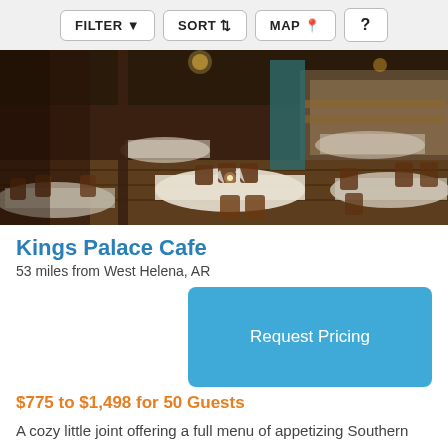FILTER  SORT  MAP  ?
[Figure (photo): Interior of Kings Palace Cafe restaurant showing dining tables with blue/purple tablecloths, wooden chairs, dim warm lighting, bar area in background]
Kings Palace Cafe
53 miles from West Helena, AR
Request Pricing
$775 to $1,498 for 50 Guests
A cozy little joint offering a full menu of appetizing Southern delicacies, such as the Memphis style BBQ ribs, Shrimp and Crawfish Etouffee, Chicken Pontabla or many other Cajun
Restaurant/Bar/Pub